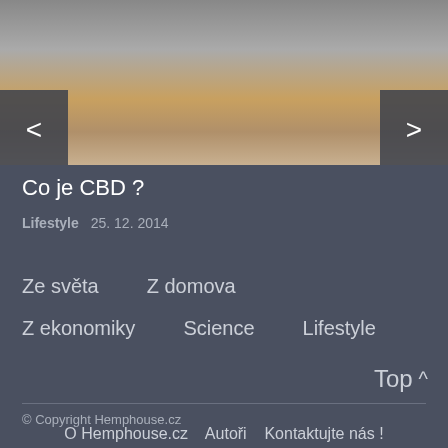[Figure (photo): Photo of hands holding a small amber glass bottle with dropper, CBD oil, person in white coat visible]
Co je CBD ?
Lifestyle   25. 12. 2014
Ze světa
Z domova
Z ekonomiky
Science
Lifestyle
Top ^
© Copyright Hemphouse.cz
O Hemphouse.cz   Autoři   Kontaktujte nás !